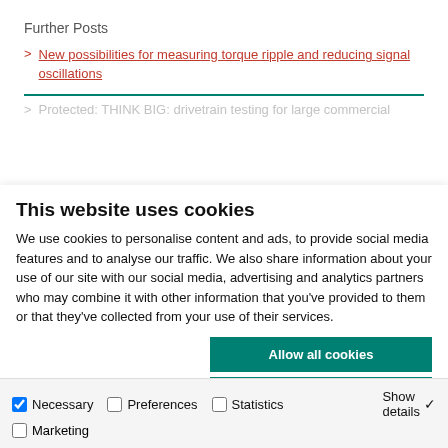Further Posts
> New possibilities for measuring torque ripple and reducing signal oscillations
> Protected: THINK BIG: drivetrain testing for large commercial
This website uses cookies
We use cookies to personalise content and ads, to provide social media features and to analyse our traffic. We also share information about your use of our site with our social media, advertising and analytics partners who may combine it with other information that you've provided to them or that they've collected from your use of their services.
Allow all cookies
Allow selection
Use necessary cookies only
Necessary  Preferences  Statistics  Show details  Marketing